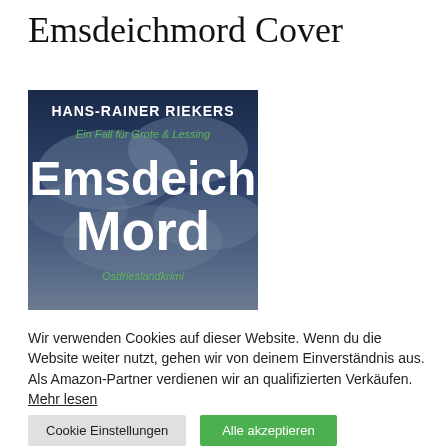Emsdeichmord Cover
[Figure (illustration): Book cover of 'Emsdeichmord' by Hans-Rainer Riekers. Dark blue/grey cloudy sky background. Author name at top in white: HANS-RAINER RIEKERS. Green italic subtitle: Ein Fall für Grote & Lessing. Large bold white title text: Emsdeich Mord. Green italic genre text at bottom: Ostfrieslandkrimi.]
Wir verwenden Cookies auf dieser Website. Wenn du die Website weiter nutzt, gehen wir von deinem Einverständnis aus. Als Amazon-Partner verdienen wir an qualifizierten Verkäufen. Mehr lesen
Cookie Einstellungen
Alle akzeptieren